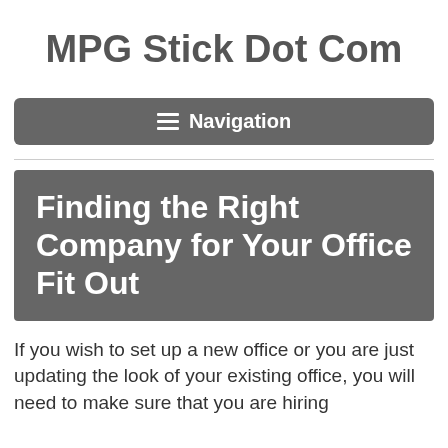MPG Stick Dot Com
Navigation
Finding the Right Company for Your Office Fit Out
If you wish to set up a new office or you are just updating the look of your existing office, you will need to make sure that you are hiring